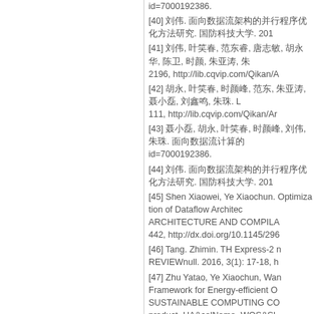id=7000192386.
[40] 刘伟. 面向数据流架构的并行程序优化方法研究. 国防科技大学. 201…
[41] 刘伟, 叶笑春, 范东睿, 唐志敏, 胡永华, 陈卫, 时颜, 朱亚涛, 朱…2196, http://lib.cqvip.com/Qikan/A…
[42] 胡永, 叶笑春, 时颜峰, 范东, 朱亚涛, 聂小磊, 刘鑫鸣, 朱珠. L…111, http://lib.cqvip.com/Qikan/Ar…
[43] 聂小磊, 胡永, 叶笑春, 时颜峰, 刘伟, 朱珠. 面向数据流计算的…id=7000192386.
[44] 刘伟. 面向数据流架构的并行程序优化方法研究. 国防科技大学. 201…
[45] Shen Xiaowei, Ye Xiaochun. Optimization of Dataflow Architec…ARCHITECTURE AND COMPILA…442, http://dx.doi.org/10.1145/296…
[46] Tang. Zhimin. TH Express-2 n…REVIEWnull. 2016, 3(1): 17-18, h…
[47] Zhu Yatao, Ye Xiaochun, Wan…Framework for Energy-efficient O…SUSTAINABLE COMPUTING CO…product=UA&colName=WOS&SI…
[48] Zhimin Tang. TH Express-2 n…18, http://lib.cqvip.com/Qikan/Arti…
[49] Shen Xiaowei, Ye Xiaochun,…